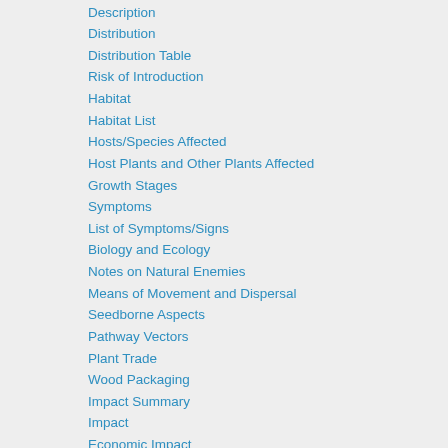Description
Distribution
Distribution Table
Risk of Introduction
Habitat
Habitat List
Hosts/Species Affected
Host Plants and Other Plants Affected
Growth Stages
Symptoms
List of Symptoms/Signs
Biology and Ecology
Notes on Natural Enemies
Means of Movement and Dispersal
Seedborne Aspects
Pathway Vectors
Plant Trade
Wood Packaging
Impact Summary
Impact
Economic Impact
Environmental Impact
Diagnosis
Detection and Inspection
Prevention and Control
References